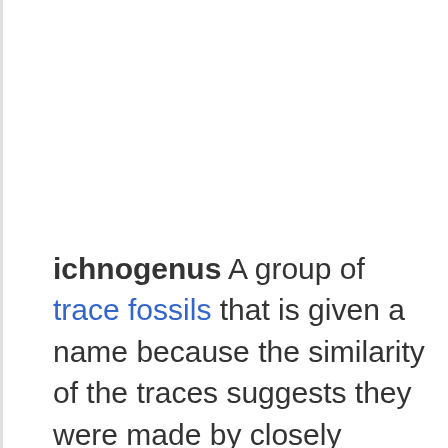ichnogenus A group of trace fossils that is given a name because the similarity of the traces suggests they were made by closely related species of organisms. Ichnological taxonomy, which applies the principles of biological nomenclature to non-biological material, is governed by the